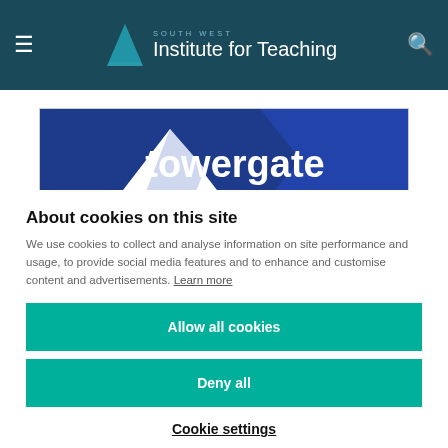South West Institute for Teaching
[Figure (logo): Towergate logo — dark blue background with white triangle/mountain icon and 'towergate' wordmark in white]
About cookies on this site
We use cookies to collect and analyse information on site performance and usage, to provide social media features and to enhance and customise content and advertisements. Learn more
Allow all cookies
Deny all
Cookie settings